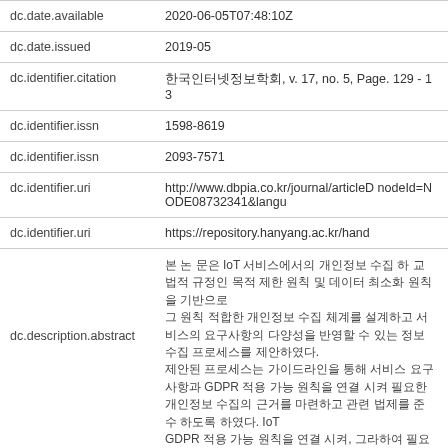| Field | Value |
| --- | --- |
| dc.date.available | 2020-06-05T07:48:10Z |
| dc.date.issued | 2019-05 |
| dc.identifier.citation | 한국인터넷정보학회, v. 17, no. 5, Page. 129 - 13… |
| dc.identifier.issn | 1598-8619 |
| dc.identifier.issn | 2093-7571 |
| dc.identifier.uri | http://www.dbpia.co.kr/journal/articleD… nodeId=NODE08732341&amp;langu… |
| dc.identifier.uri | https://repository.hanyang.ac.kr/hand… |
| dc.description.abstract | 본 논문은 IoT 서비스에서의 개인정보 수 집에 관한 법적 규정인 목적 제한 원칙 및 데이터 최소화 원칙을 기반으로, 그 원칙에 적합한 개인정보 수집 체계를 설계하고 서비스의 요구사항의 다양성을 반영할 수 있는 정보 수집 프로세스를 제안하였다. 제안된 프로세스 는 가이드라인을 통해 서비스 요구사항과 GDPR 적용 가능 원칙을 연결 시켜 필요한 개인정보 수집의 근거를 마련하고, 관련 법제를 준 수 하도록 하였다. Many IoT devices like sensors are considered as limited devices, thus making them hard to meet the conditions that GDPR requires. This is a barrier for further advancement in the IoT paper, we designed the process for collecting information that meets the GDPR design, user&rsquo;s personal data is encrypted form by data collecting ser… |